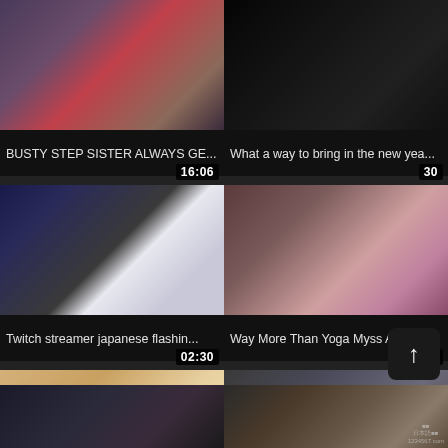[Figure (screenshot): Video thumbnail grid showing adult video content with durations and titles. Row 1: 'BUSTY STEP SISTER ALWAYS GE...' (16:06), 'What a way to bring in the new yea...' (30). Row 2: 'Twitch streamer japanese flashin...' (02:30), 'Way More Than Yoga Myss Aless...' (08:17). Row 3: 'Tied Up and Fucked by Big Ass - s...' (22:09), 'Deeper. Alexa Grace Gets Her Wic...' (11:56). Partial row 4: two more thumbnails partially visible.]